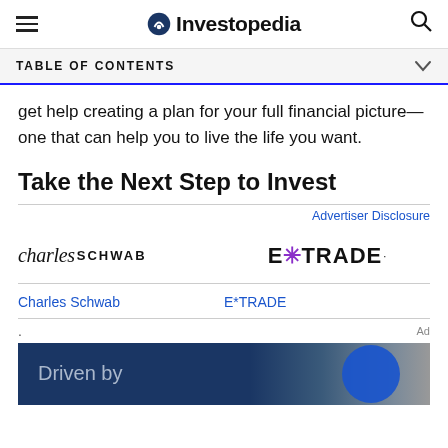Investopedia
TABLE OF CONTENTS
get help creating a plan for your full financial picture—one that can help you to live the life you want.
Take the Next Step to Invest
Advertiser Disclosure
[Figure (logo): Charles Schwab logo — italic 'charles' followed by bold 'SCHWAB' in sans-serif]
[Figure (logo): E*TRADE logo with purple asterisk star]
Charles Schwab
E*TRADE
Ad
[Figure (illustration): Blue banner advertisement reading 'Driven by' with a dark blue background and a circle graphic on the right]